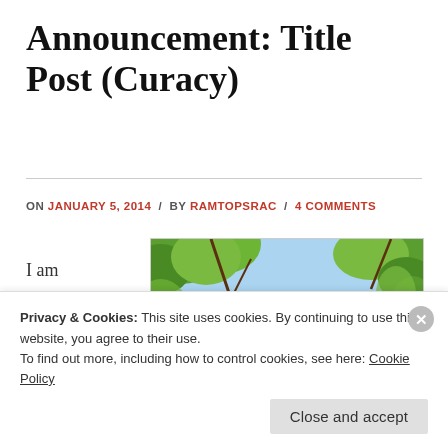Announcement: Title Post (Curacy)
ON JANUARY 5, 2014 / BY RAMTOPSRAC / 4 COMMENTS
I am
[Figure (photo): Photograph of a brick building with peaked rooftops visible through green tree branches against a blue sky]
Privacy & Cookies: This site uses cookies. By continuing to use this website, you agree to their use.
To find out more, including how to control cookies, see here: Cookie Policy